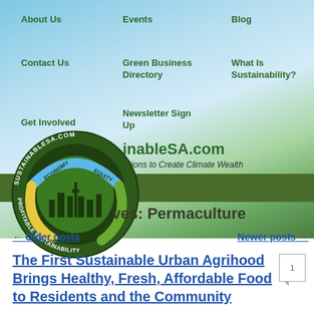SustainableSA.com — Solutions to Create Climate Wealth
About Us
Events
Blog
Contact Us
Green Business Directory
What Is Sustainability?
Get Involved
Newsletter Sign Up
[Figure (logo): SustainableSA.com circular logo with economy, equity, environment and profitable sustainability text around a city skyline]
Archives: Permaculture
← Older posts
Newer posts →
The First Sustainable Urban Agrihood Brings Healthy, Fresh, Affordable Food to Residents and the Community